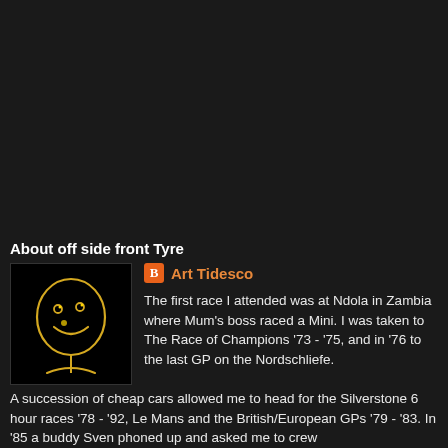About off side front Tyre
[Figure (illustration): Avatar/profile image: a simple line drawing of a cartoon face on a black background, drawn in golden/yellow lines, showing a bald smiling figure]
Art Tidesco
The first race I attended was at Ndola in Zambia where Mum's boss raced a Mini. I was taken to The Race of Champions '73 - '75, and in '76 to the last GP on the Nordschliefe. A succession of cheap cars allowed me to head for the Silverstone 6 hour races '78 - '92, Le Mans and the British/European GPs '79 - '83. In '85 a buddy Sven phoned up and asked me to crew